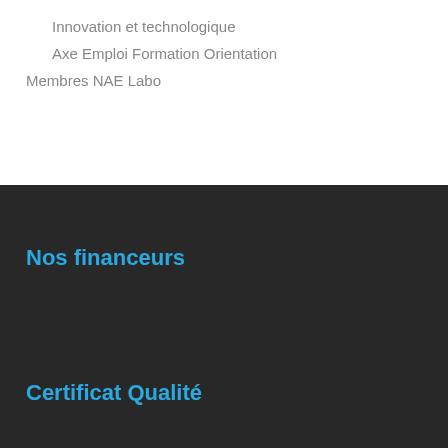Innovation et technologique
Axe Emploi Formation Orientation
Membres NAE Labo
Nos financeurs
Certificat Qualité